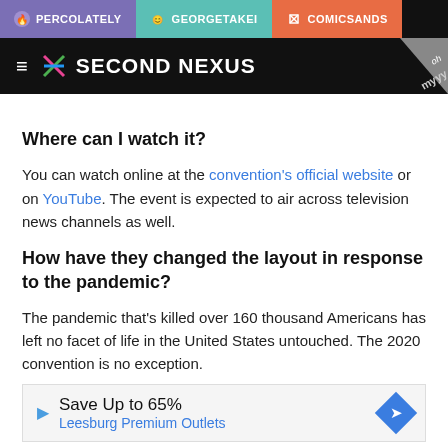PERCOLATELY | GEORGETAKEI | COMICSANDS
[Figure (logo): Second Nexus website header with logo and navigation]
Where can I watch it?
You can watch online at the convention's official website or on YouTube. The event is expected to air across television news channels as well.
How have they changed the layout in response to the pandemic?
The pandemic that's killed over 160 thousand Americans has left no facet of life in the United States untouched. The 2020 convention is no exception.
Save Up to 65% Leesburg Premium Outlets
Originally ... insin, the co... fully